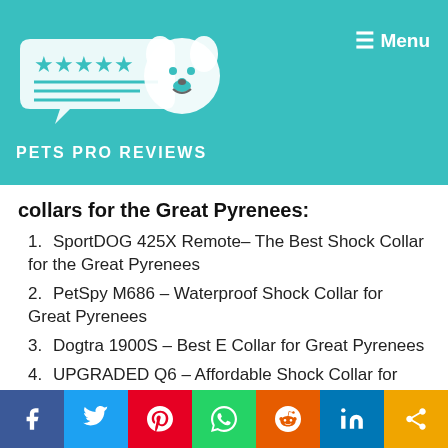PETS PRO REVIEWS | Menu
collars for the Great Pyrenees:
SportDOG 425X Remote– The Best Shock Collar for the Great Pyrenees
PetSpy M686 – Waterproof Shock Collar for Great Pyrenees
Dogtra 1900S – Best E Collar for Great Pyrenees
UPGRADED Q6 – Affordable Shock Collar for